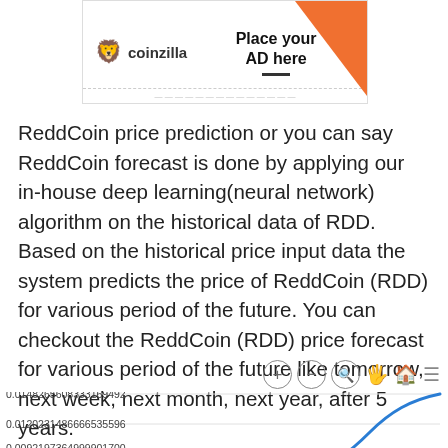[Figure (other): Coinzilla advertisement banner with logo, 'Place your AD here' text, and orange corner decoration]
ReddCoin price prediction or you can say ReddCoin forecast is done by applying our in-house deep learning(neural network) algorithm on the historical data of RDD. Based on the historical price input data the system predicts the price of ReddCoin (RDD) for various period of the future. You can checkout the ReddCoin (RDD) price forecast for various period of the future like tomorrow, next week, next month, next year, after 5 years.
[Figure (line-chart): ReddCoin price forecast line chart showing an upward curving blue line. Y-axis labels: 0.0148265608333169492, 0.0120231486666535596, 0.0092197364999901700. Chart toolbar visible with zoom/pan controls.]